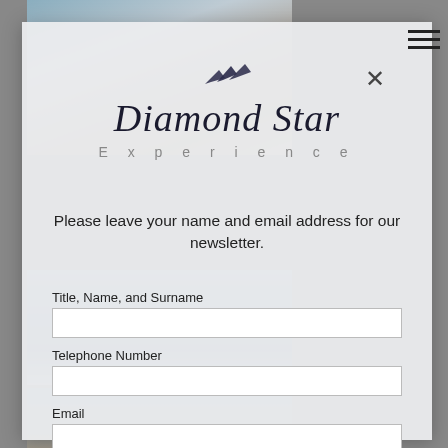[Figure (photo): Background showing travel destination photos partially visible behind a modal dialog]
Diamond Star
Experience
Please leave your name and email address for our newsletter.
Title, Name, and Surname
Telephone Number
Email